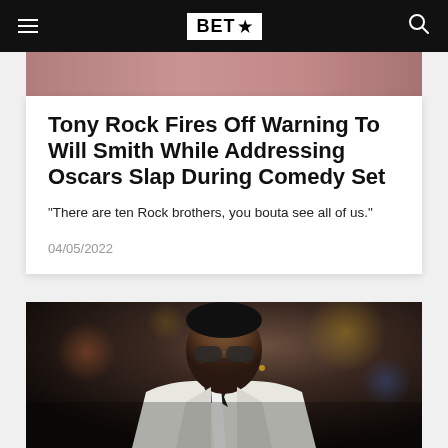BET★
[Figure (photo): Partial top image, cropped photo behind article card]
Tony Rock Fires Off Warning To Will Smith While Addressing Oscars Slap During Comedy Set
“There are ten Rock brothers, you bouta see all of us.”
04/05/2022
[Figure (photo): A man in a white tuxedo with black bow tie and sunglasses, with bokeh background lights]